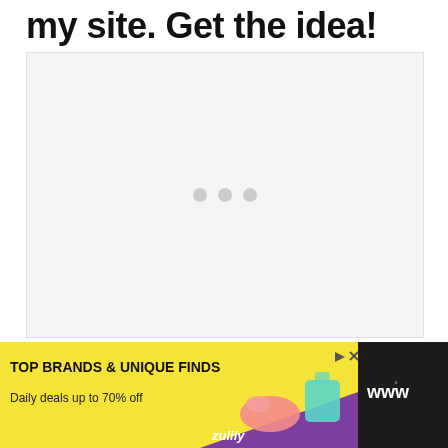my site. Get the idea!
[Figure (other): Embedded video player area showing a loading state with three gray dots in the center on a white/light gray background]
[Figure (other): Advertisement banner for Zulily: 'TOP BRANDS & UNIQUE FINDS - Daily deals up to 70% off' with yellow background, shoe and purse images, zulily logo, and a W logo on the right on dark background]